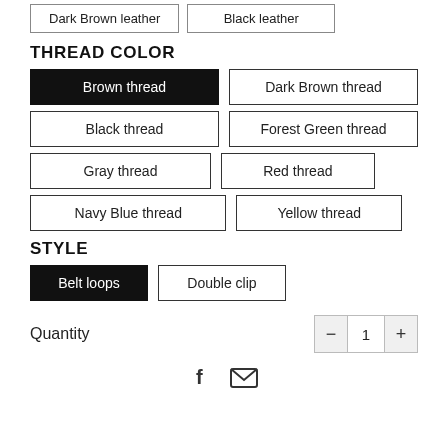Dark Brown leather | Black leather
THREAD COLOR
Brown thread (selected)
Dark Brown thread
Black thread
Forest Green thread
Gray thread
Red thread
Navy Blue thread
Yellow thread
STYLE
Belt loops (selected)
Double clip
Quantity
- 1 +